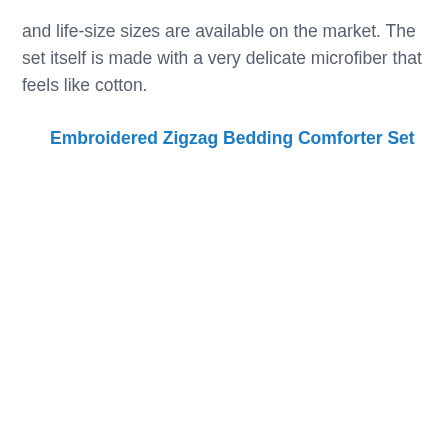and life-size sizes are available on the market. The set itself is made with a very delicate microfiber that feels like cotton.
Embroidered Zigzag Bedding Comforter Set